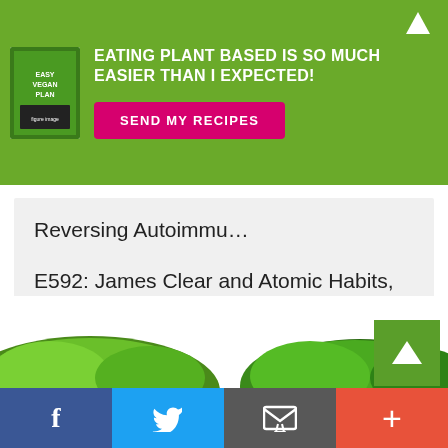[Figure (screenshot): Green promotional banner with book image and 'SEND MY RECIPES' button]
EATING PLANT BASED IS SO MUCH EASIER THAN I EXPECTED!
SEND MY RECIPES
Reversing Autoimmu…
E592: James Clear and Atomic Habits, Why…
[Figure (photo): Green vegetables/salad at the bottom of the page]
[Figure (infographic): Social share bar with Facebook, Twitter, Email, and Plus buttons]